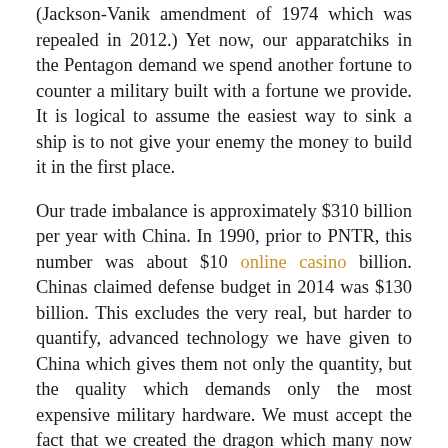(Jackson-Vanik amendment of 1974 which was repealed in 2012.) Yet now, our apparatchiks in the Pentagon demand we spend another fortune to counter a military built with a fortune we provide. It is logical to assume the easiest way to sink a ship is to not give your enemy the money to build it in the first place.
Our trade imbalance is approximately $310 billion per year with China. In 1990, prior to PNTR, this number was about $10 online casino billion. Chinas claimed defense budget in 2014 was $130 billion. This excludes the very real, but harder to quantify, advanced technology we have given to China which gives them not only the quantity, but the quality which demands only the most expensive military hardware. We must accept the fact that we created the dragon which many now demand we prepare to slay at great expense.
To revoke PNTR, and to restrict trade with China,